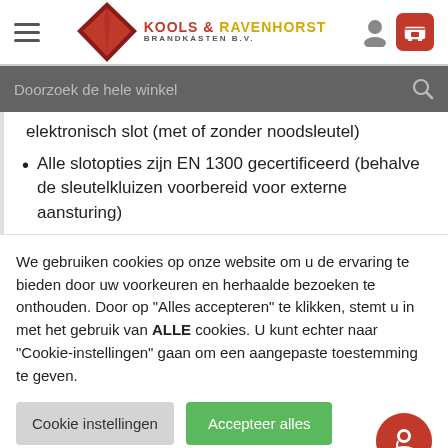[Figure (logo): Kools & Ravenhorst Brandkasten B.V. logo with diamond shape and hamburger menu, user icon, and cart icon in header]
[Figure (screenshot): Search bar with placeholder text 'Doorzoek de hele winkel' on dark grey background with search icon]
elektronisch slot (met of zonder noodsleutel)
Alle slotopties zijn EN 1300 gecertificeerd (behalve de sleutelkluizen voorbereid voor externe aansturing)
We gebruiken cookies op onze website om u de ervaring te bieden door uw voorkeuren en herhaalde bezoeken te onthouden. Door op "Alles accepteren" te klikken, stemt u in met het gebruik van ALLE cookies. U kunt echter naar "Cookie-instellingen" gaan om een aangepaste toestemming te geven.
Cookie instellingen | Accepteer alles